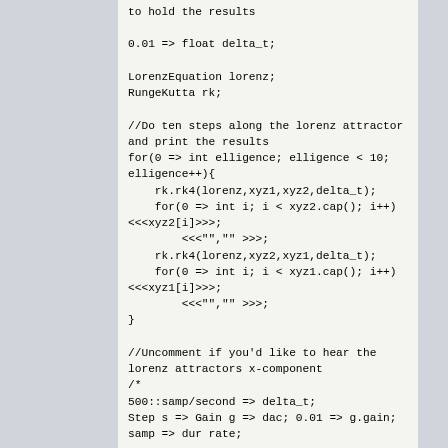to hold the results

0.01 => float delta_t;

LorenzEquation lorenz;
RungeKutta rk;

//Do ten steps along the lorenz attractor
and print the results
for(0 => int elligence; elligence < 10;
elligence++){
    rk.rk4(lorenz,xyz1,xyz2,delta_t);
    for(0 => int i; i < xyz2.cap(); i++)
<<<xyz2[i]>>>;
        <<<"","">>>;
    rk.rk4(lorenz,xyz2,xyz1,delta_t);
    for(0 => int i; i < xyz1.cap(); i++)
<<<xyz1[i]>>>;
        <<<"","">>>;
}

//Uncomment if you'd like to hear the
lorenz attractors x-component
/*
500::samp/second => delta_t;
Step s => Gain g => dac; 0.01 => g.gain;
samp => dur rate;

for(now + second => time later; now <
later;){
    rk.rk4(lorenz,xyz1,xyz2,delta_t);
    xyz2[0] => s.next;
    rate => now;

    rk.rk4(lorenz,xyz2,xyz1,delta_t);
    xyz1[0] => s.next;
    rate => now;
}*/